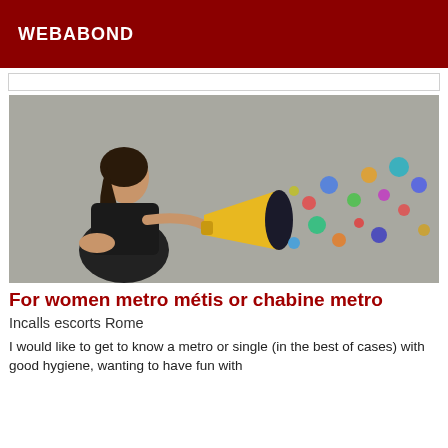WEBABOND
[Figure (photo): Woman in black jacket shouting into a yellow megaphone, with colorful dots flying out against a grey concrete wall background.]
For women metro métis or chabine metro
Incalls escorts Rome
I would like to get to know a metro or single (in the best of cases) with good hygiene, wanting to have fun with